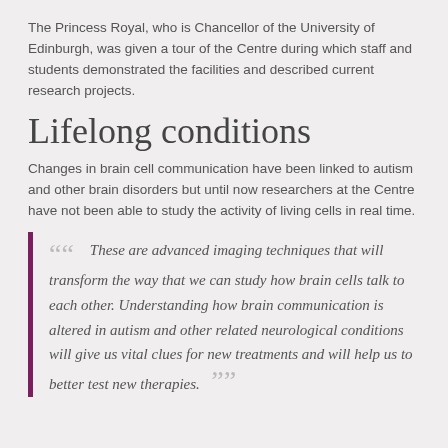The Princess Royal, who is Chancellor of the University of Edinburgh, was given a tour of the Centre during which staff and students demonstrated the facilities and described current research projects.
Lifelong conditions
Changes in brain cell communication have been linked to autism and other brain disorders but until now researchers at the Centre have not been able to study the activity of living cells in real time.
““  These are advanced imaging techniques that will transform the way that we can study how brain cells talk to each other. Understanding how brain communication is altered in autism and other related neurological conditions will give us vital clues for new treatments and will help us to better test new therapies.  ””